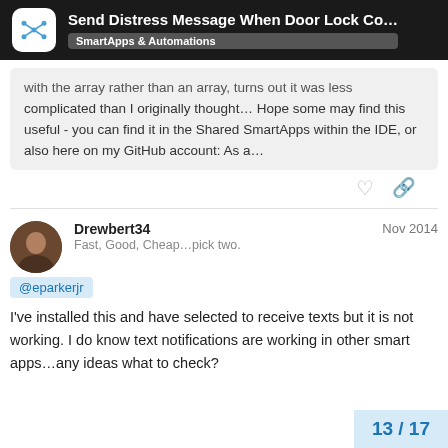Send Distress Message When Door Lock Co... — SmartApps & Automations
complicated than I originally thought... Hope some may find this useful - you can find it in the Shared SmartApps within the IDE, or also here on my GitHub account: As a...
Drewbert34  Nov 2014
Fast, Good, Cheap...pick two.
@eparkerjr
I've installed this and have selected to receive texts but it is not working. I do know text notifications are working in other smart apps...any ideas what to check?
13 / 17